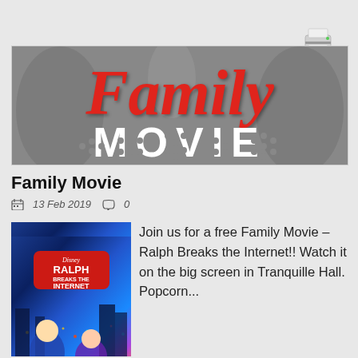[Figure (illustration): Print icon - a printer device illustration in the top right corner]
[Figure (illustration): Family Movie banner image - black and white background with 'Family' written in large red cursive script and 'MOVIE' in large dotted white block letters below]
Family Movie
13 Feb 2019   0
[Figure (illustration): Ralph Breaks the Internet movie poster - colorful animated scene with RALPH BREAKS THE INTERNET badge in red]
Join us for a free Family Movie – Ralph Breaks the Internet!! Watch it on the big screen in Tranquille Hall. Popcorn...